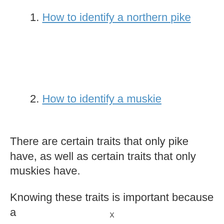1. How to identify a northern pike
2. How to identify a muskie
There are certain traits that only pike have, as well as certain traits that only muskies have.
Knowing these traits is important because a
x